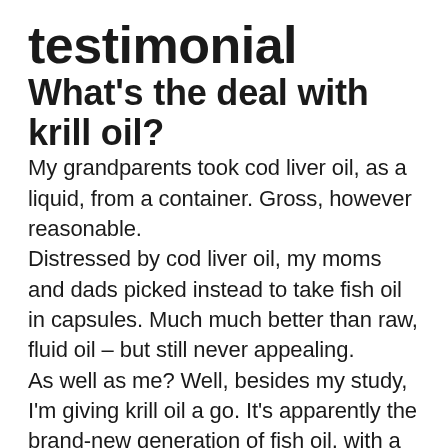testimonial
What's the deal with krill oil?
My grandparents took cod liver oil, as a liquid, from a container. Gross, however reasonable.
Distressed by cod liver oil, my moms and dads picked instead to take fish oil in capsules. Much much better than raw, fluid oil – but still never appealing.
As well as me? Well, besides my study, I'm giving krill oil a go. It's apparently the brand-new generation of fish oil, with a bunch of unique benefits.
Individuals have actually taken some form of